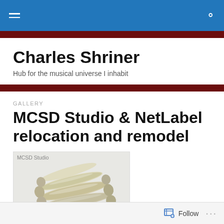Charles Shriner — navigation bar with hamburger menu and search icon
Charles Shriner
Hub for the musical universe I inhabit
GALLERY
MCSD Studio & NetLabel relocation and remodel
[Figure (photo): Thumbnail image labeled 'MCSD Studio' showing metallic audio cables or connectors arranged on a light background]
Follow  ···